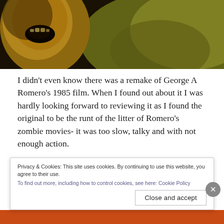[Figure (photo): A dark, horror-themed photo of a zombie or monster with an open mouth, showing yellowed skin tones against a dark olive/yellow-green blurred background.]
I didn't even know there was a remake of George A Romero's 1985 film. When I found out about it I was hardly looking forward to reviewing it as I found the original to be the runt of the litter of Romero's zombie movies- it was too slow, talky and with not enough action.
Privacy & Cookies: This site uses cookies. By continuing to use this website, you agree to their use.
To find out more, including how to control cookies, see here: Cookie Policy
Close and accept